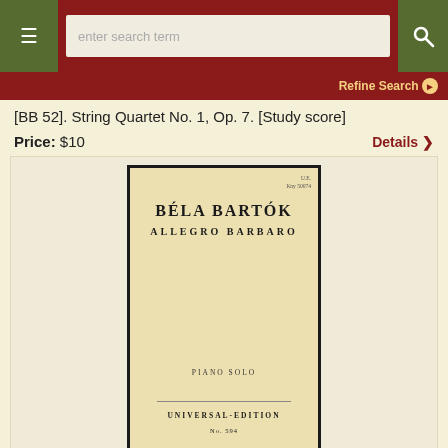[Figure (screenshot): Website header with dark red background, hamburger menu button (olive green), search input box with placeholder 'enter search term', and search button (olive green)]
Refine Search ❯
[BB 52]. String Quartet No. 1, Op. 7. [Study score]
Price: $10
Details ❯
[Figure (photo): Photograph of a musical score cover: Béla Bartók Allegro Barbaro, Piano Solo, Universal-Edition No. 594]